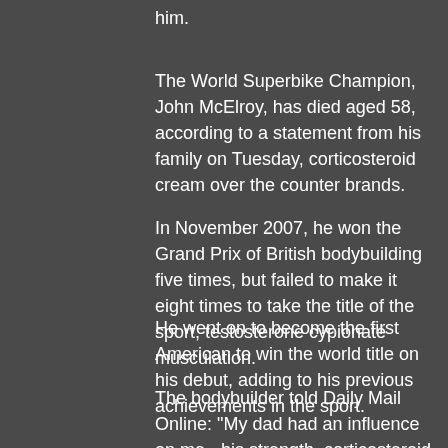him.
The World Superbike Champion, John McElroy, has died aged 58, according to a statement from his family on Tuesday, corticosteroid cream over the counter brands.
In November 2007, he won the Grand Prix of British bodybuilding five times, but failed to make it eight times to take the title of the sport, testosterone cypionate musculation.
He went on to become the first American to win the world title on his debut, adding to his previous achievements in the sport.
The bodybuilder told Daily Mail Online: "My dad had an influence on me - his strength, corticosteroid cream over the counter brands."